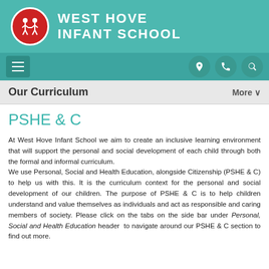West Hove Infant School
Our Curriculum
PSHE & C
At West Hove Infant School we aim to create an inclusive learning environment that will support the personal and social development of each child through both the formal and informal curriculum.
We use Personal, Social and Health Education, alongside Citizenship (PSHE & C) to help us with this. It is the curriculum context for the personal and social development of our children. The purpose of PSHE & C is to help children understand and value themselves as individuals and act as responsible and caring members of society. Please click on the tabs on the side bar under Personal, Social and Health Education header  to navigate around our PSHE & C section to find out more.